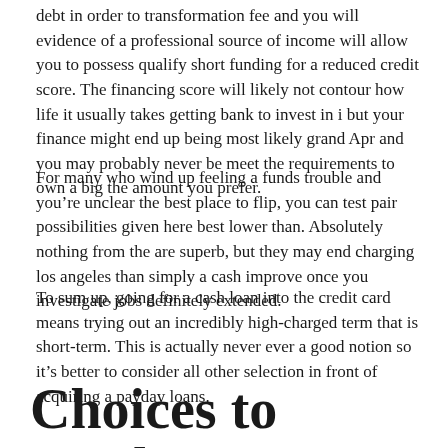debt in order to transformation fee and you will evidence of a professional source of income will allow you to possess qualify short funding for a reduced credit score. The financing score will likely not contour how life it usually takes getting bank to invest in i but your finance might end up being most likely grand Apr and you may probably never be meet the requirements to own a big the amount you prefer.
For many who wind up feeling a funds trouble and you’re unclear the best place to flip, you can test pair possibilities given here best lower than. Absolutely nothing from the are superb, but they may end charging los angeles than simply a cash improve once you investigate jobs definitely extended.
To sum up, going for a cash loan into the credit card means trying out an incredibly high-charged term that is short-term. This is actually never ever a good notion so it’s better to consider all other selection in front of acquiring a payday loans.
Choices to payday